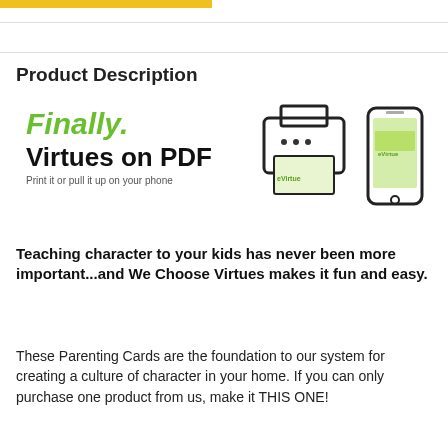[Figure (illustration): Gold horizontal bar at top left]
Product Description
[Figure (infographic): Finally. Virtues on PDF — Print it or pull it up on your phone. Shows a printer icon printing a card and a smartphone displaying the card.]
Teaching character to your kids has never been more important...and We Choose Virtues makes it fun and easy.
These Parenting Cards are the foundation to our system for creating a culture of character in your home. If you can only purchase one product from us, make it THIS ONE!